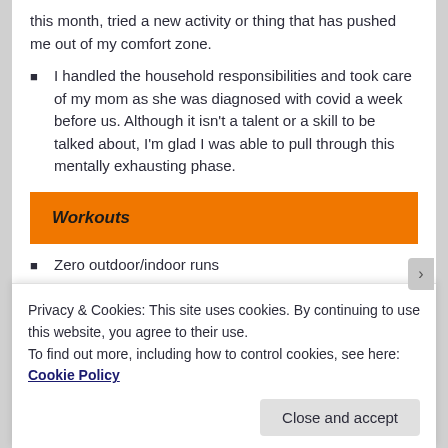this month, tried a new activity or thing that has pushed me out of my comfort zone.
I handled the household responsibilities and took care of my mom as she was diagnosed with covid a week before us. Although it isn't a talent or a skill to be talked about, I'm glad I was able to pull through this mentally exhausting phase.
Workouts
Zero outdoor/indoor runs
Worked out for 4/31 days
Privacy & Cookies: This site uses cookies. By continuing to use this website, you agree to their use.
To find out more, including how to control cookies, see here: Cookie Policy
Close and accept